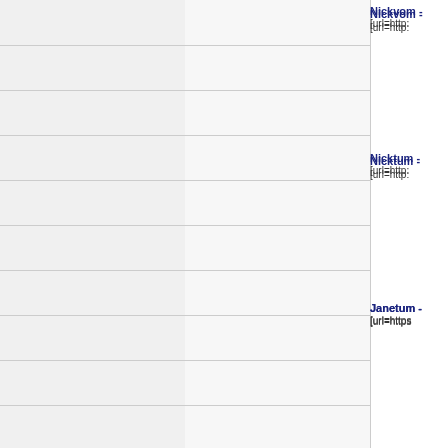Nickvom -
[url=http:
Nicktum -
[url=http:
Janetum -
[url=https
Ivyvom -
[url=https
Nickvom -
[url=http:
Miavom -
[url=https
Jimvom -
[url=https
Jimtum -